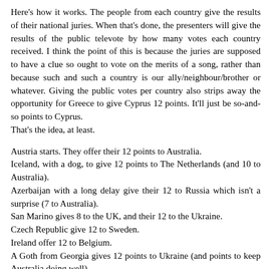Here's how it works. The people from each country give the results of their national juries. When that's done, the presenters will give the results of the public televote by how many votes each country received. I think the point of this is because the juries are supposed to have a clue so ought to vote on the merits of a song, rather than because such and such a country is our ally/neighbour/brother or whatever. Giving the public votes per country also strips away the opportunity for Greece to give Cyprus 12 points. It'll just be so-and-so points to Cyprus.
That's the idea, at least.
Austria starts. They offer their 12 points to Australia.
Iceland, with a dog, to give 12 points to The Netherlands (and 10 to Australia).
Azerbaijan with a long delay give their 12 to Russia which isn't a surprise (7 to Australia).
San Marino gives 8 to the UK, and their 12 to the Ukraine.
Czech Republic give 12 to Sweden.
Ireland offer 12 to Belgium.
A Goth from Georgia gives 12 points to Ukraine (and points to keep Australia doing well).
Bosnia and Herzegovina gave 12 points to Ukraine (and 10 to Australia).
Malta plugging the JESC again and giving a pitiful 3 to Australia,